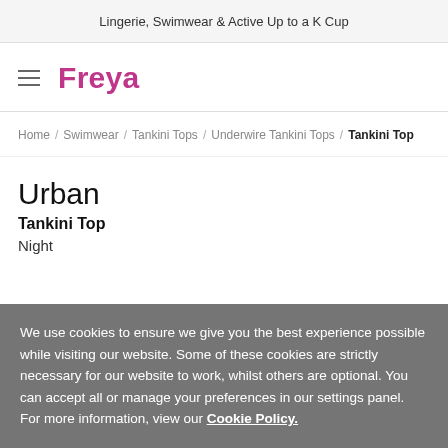Lingerie, Swimwear & Active Up to a K Cup
[Figure (logo): Freya brand logo in magenta/pink color with hamburger menu icon to the left]
Home / Swimwear / Tankini Tops / Underwire Tankini Tops / Tankini Top
Urban
Tankini Top
Night
We use cookies to ensure we give you the best experience possible while visiting our website. Some of these cookies are strictly necessary for our website to work, whilst others are optional. You can accept all or manage your preferences in our settings panel. For more information, view our Cookie Policy.